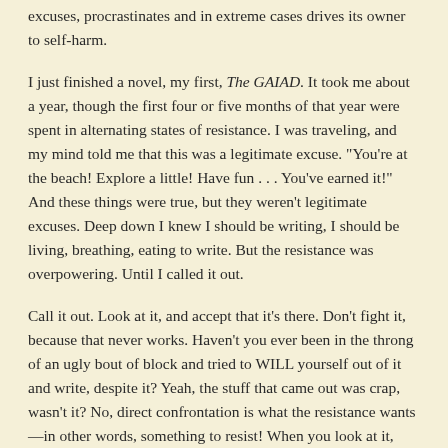excuses, procrastinates and in extreme cases drives its owner to self-harm.
I just finished a novel, my first, The GAIAD. It took me about a year, though the first four or five months of that year were spent in alternating states of resistance. I was traveling, and my mind told me that this was a legitimate excuse. "You're at the beach! Explore a little! Have fun . . . You've earned it!" And these things were true, but they weren't legitimate excuses. Deep down I knew I should be writing, I should be living, breathing, eating to write. But the resistance was overpowering. Until I called it out.
Call it out. Look at it, and accept that it's there. Don't fight it, because that never works. Haven't you ever been in the throng of an ugly bout of block and tried to WILL yourself out of it and write, despite it? Yeah, the stuff that came out was crap, wasn't it? No, direct confrontation is what the resistance wants—in other words, something to resist! When you look at it, accept it, see it for what it is, it'll fade, like morning mist in the sun. And that separation, that realization, that "there it is, and this is me, and I am not it" experience is the end of block's hold on you. It's de-energized, lessened, weakened and no longer in control. Sure, it'll